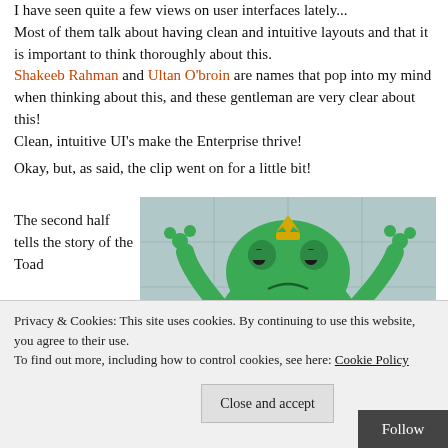I have seen quite a few views on user interfaces lately... Most of them talk about having clean and intuitive layouts and that it is important to think thoroughly about this. Shakeeb Rahman and Ultan O'broin are names that pop into my mind when thinking about this, and these gentleman are very clear about this!
Clean, intuitive UI's make the Enterprise thrive!
Okay, but, as said, the clip went on for a little bit!
The second half tells the story of the Toad
[Figure (photo): A green animated toad/frog character with arms raised and a small crown, appearing to shrug or gesture, against a tiled background.]
day!
Privacy & Cookies: This site uses cookies. By continuing to use this website, you agree to their use.
To find out more, including how to control cookies, see here: Cookie Policy
Close and accept
Follow